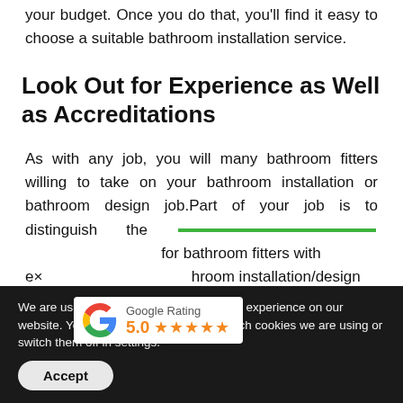your budget. Once you do that, you'll find it easy to choose a suitable bathroom installation service.
Look Out for Experience as Well as Accreditations
As with any job, you will many bathroom fitters willing to take on your bathroom installation or bathroom design job.Part of your job is to distinguish the sp for bathroom fitters with ex hroom installation/design i if th i h th
[Figure (other): Google Rating widget showing 5.0 stars with orange star icons and the Google 'G' logo]
We are using cookies to give you the best experience on our website. You can find out more about which cookies we are using or switch them off in settings.